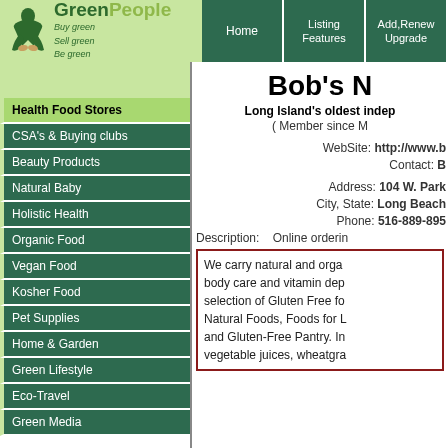[Figure (logo): GreenPeople logo with figure icon and taglines: Buy green, Sell green, Be green]
Home | Listing Features | Add,Renew Upgrade | Green Coupons
Natural Food
Health Food Stores
CSA's & Buying clubs
Beauty Products
Natural Baby
Holistic Health
Organic Food
Vegan Food
Kosher Food
Pet Supplies
Home & Garden
Green Lifestyle
Eco-Travel
Green Media
Bob's N
Long Island's oldest indep
( Member since M
WebSite: http://www.b
Contact: B
Address: 104 W. Park
City, State: Long Beach
Phone: 516-889-895
Description:   Online orderin
We carry natural and orga body care and vitamin dep selection of Gluten Free fo Natural Foods, Foods for L and Gluten-Free Pantry. In vegetable juices, wheatgra